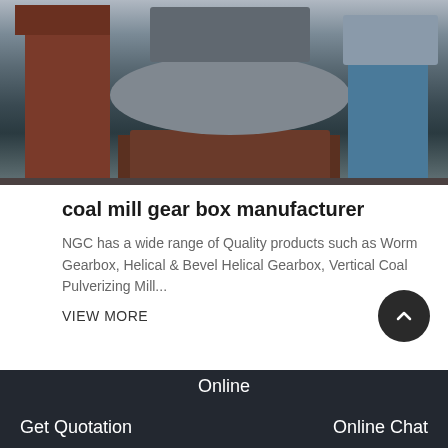[Figure (photo): Industrial factory interior showing large coal mill grinding machinery on red/brown metal stands. Heavy circular grinding plates visible in the center, with various industrial equipment on left and right, and windows in the background.]
coal mill gear box manufacturer
NGC has a wide range of Quality products such as Worm Gearbox, Helical & Bevel Helical Gearbox, Vertical Coal Pulverizing Mill...
VIEW MORE
Get Quotation   Online   Online Chat